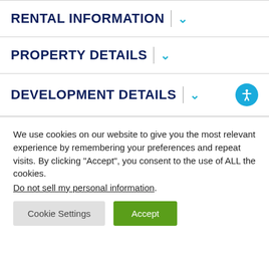RENTAL INFORMATION
PROPERTY DETAILS
DEVELOPMENT DETAILS
We use cookies on our website to give you the most relevant experience by remembering your preferences and repeat visits. By clicking “Accept”, you consent to the use of ALL the cookies. Do not sell my personal information.
Cookie Settings | Accept